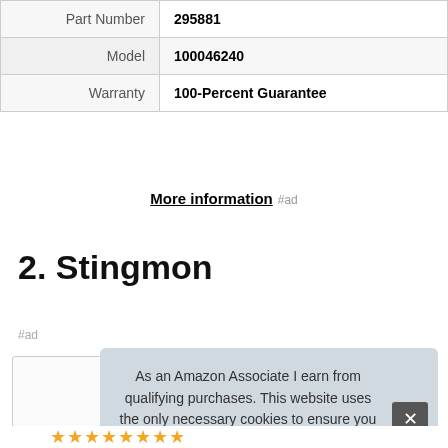| Part Number | 295881 |
| Model | 100046240 |
| Warranty | 100-Percent Guarantee |
More information #ad
2. Stingmon
#ad
As an Amazon Associate I earn from qualifying purchases. This website uses the only necessary cookies to ensure you get the best experience on our website. More information